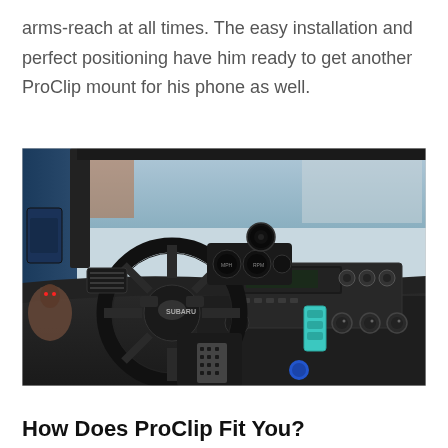arms-reach at all times. The easy installation and perfect positioning have him ready to get another ProClip mount for his phone as well.
[Figure (photo): Interior view of a Subaru car showing steering wheel, dashboard, center console with aftermarket gauges, ProClip mount, car stereo, and modified gear shift knob.]
How Does ProClip Fit You?